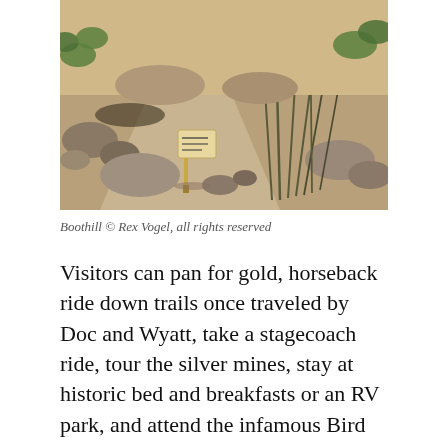[Figure (photo): A desert scene at Boothill cemetery in Tombstone, Arizona. Gravel path, rocks, prickly pear cacti, ocotillo plants, and a small grave marker sign visible in the sun.]
Boothill © Rex Vogel, all rights reserved
Visitors can pan for gold, horseback ride down trails once traveled by Doc and Wyatt, take a stagecoach ride, tour the silver mines, stay at historic bed and breakfasts or an RV park, and attend the infamous Bird Cage Theater where Tombstone's haunting and colorful past will take you back to its heyday.